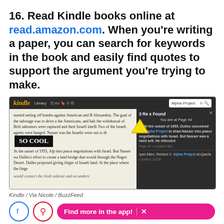16. Read Kindle books online at read.amazon.com. When you're writing a paper, you can search for keywords in the book and easily find quotes to support the argument you're trying to make.
[Figure (screenshot): Screenshot of Kindle web reader showing a book page with text about the Alpha Project, with a search panel open showing '3 Results Found' and 'You are at Page 44', and a 'SO COOL' overlay text in white on black background. A yellow arrow points to the search box. The Kindle toolbar is visible at the top with 'Library' navigation and an 'Alpha Project' search query.]
Kindle / Via Nicole / BuzzFeed
Find more in the app!
It'll only take a minute.